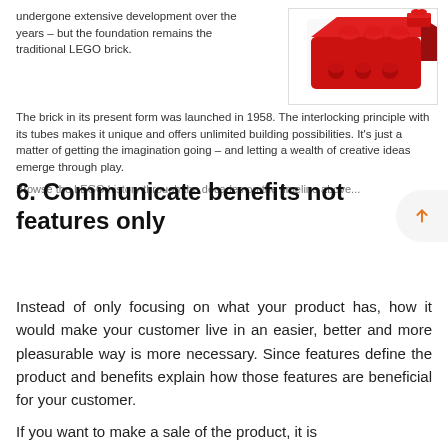undergone extensive development over the years – but the foundation remains the traditional LEGO brick.
[Figure (photo): Two red LEGO bricks photographed on a white background]
The brick in its present form was launched in 1958. The interlocking principle with its tubes makes it unique and offers unlimited building possibilities. It's just a matter of getting the imagination going – and letting a wealth of creative ideas emerge through play.
Browse the LEGO history through the decades on the timeline above...
6. Communicate benefits not features only
Instead of only focusing on what your product has, how it would make your customer live in an easier, better and more pleasurable way is more necessary. Since features define the product and benefits explain how those features are beneficial for your customer.
If you want to make a sale of the product, it is